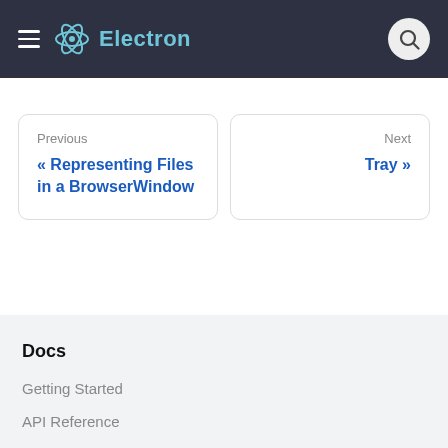Electron
Previous
« Representing Files in a BrowserWindow
Next
Tray »
Docs
Getting Started
API Reference